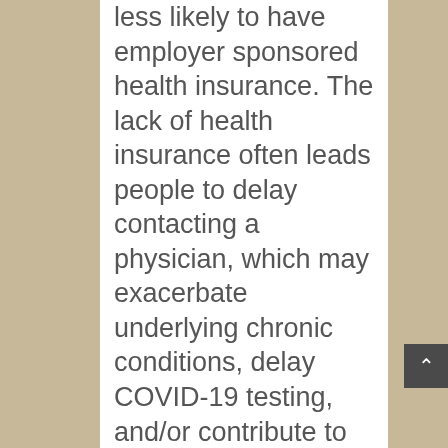less likely to have employer sponsored health insurance. The lack of health insurance often leads people to delay contacting a physician, which may exacerbate underlying chronic conditions, delay COVID-19 testing, and/or contribute to more severe COVID-19 illness.
Approximately 60% of racial/ethnic minorities (24% African Americans), use public transportation. The